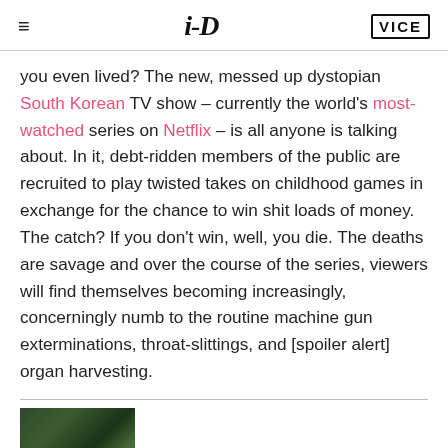≡  i-D  VICE
you even lived? The new, messed up dystopian South Korean TV show – currently the world's most-watched series on Netflix – is all anyone is talking about. In it, debt-ridden members of the public are recruited to play twisted takes on childhood games in exchange for the chance to win shit loads of money. The catch? If you don't win, well, you die. The deaths are savage and over the course of the series, viewers will find themselves becoming increasingly, concerningly numb to the routine machine gun exterminations, throat-slittings, and [spoiler alert] organ harvesting.
[Figure (photo): Dark green/teal colored image, partially visible at bottom left corner of page]